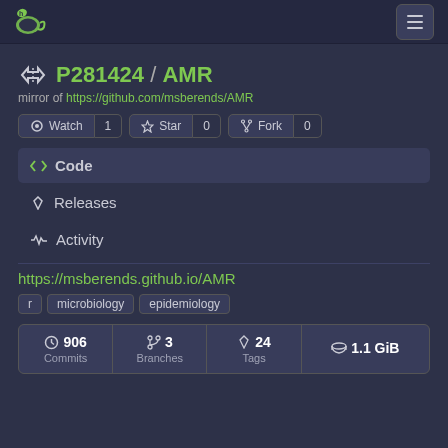Gitea header with logo and hamburger menu
P281424 / AMR
mirror of https://github.com/msberends/AMR
Watch 1  Star 0  Fork 0
Code
Releases
Activity
https://msberends.github.io/AMR
r  microbiology  epidemiology
906 Commits  3 Branches  24 Tags  1.1 GiB